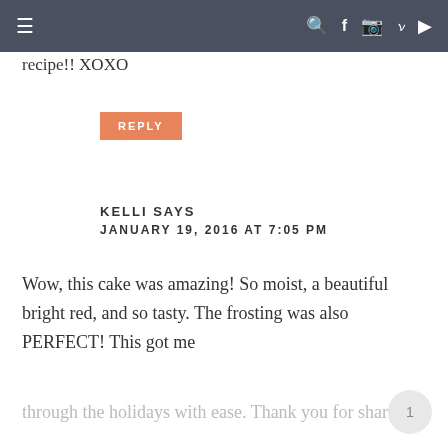≡   🔍 f 📷 𝗽 ▶
recipe!! XOXO
REPLY
KELLI SAYS
JANUARY 19, 2016 AT 7:05 PM
Wow, this cake was amazing! So moist, a beautiful bright red, and so tasty. The frosting was also PERFECT! This got me through the holidays with ease. Thank you for sharing!